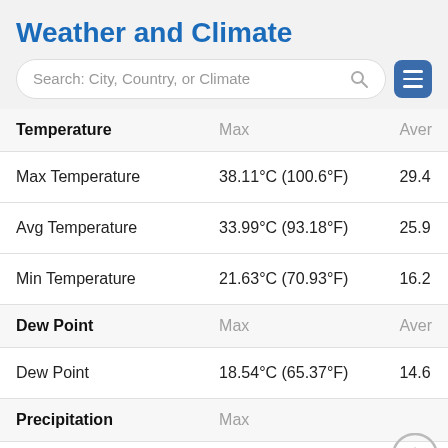Weather and Climate
[Figure (screenshot): Search bar with placeholder text 'Search: City, Country, or Climate' and a hamburger menu button]
| Temperature | Max | Aver... |
| --- | --- | --- |
| Max Temperature | 38.11°C (100.6°F) | 29.4 |
| Avg Temperature | 33.99°C (93.18°F) | 25.9... |
| Min Temperature | 21.63°C (70.93°F) | 16.2 |
| Dew Point | Max | Aver... |
| Dew Point | 18.54°C (65.37°F) | 14.6... |
| Precipitation | Max |  |
| Precipitation | 16.89mm | 0.66in | 1.46... |